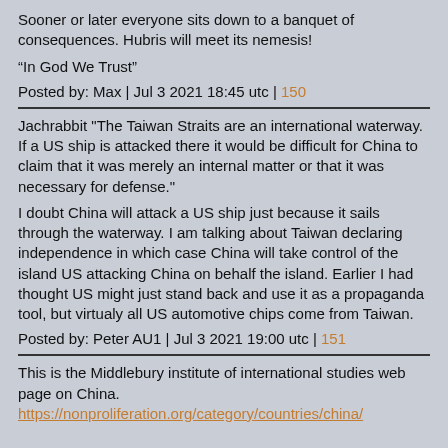Sooner or later everyone sits down to a banquet of consequences. Hubris will meet its nemesis!
“In God We Trust”
Posted by: Max | Jul 3 2021 18:45 utc | 150
Jachrabbit "The Taiwan Straits are an international waterway. If a US ship is attacked there it would be difficult for China to claim that it was merely an internal matter or that it was necessary for defense."
I doubt China will attack a US ship just because it sails through the waterway. I am talking about Taiwan declaring independence in which case China will take control of the island US attacking China on behalf the island. Earlier I had thought US might just stand back and use it as a propaganda tool, but virtualy all US automotive chips come from Taiwan.
Posted by: Peter AU1 | Jul 3 2021 19:00 utc | 151
This is the Middlebury institute of international studies web page on China. https://nonproliferation.org/category/countries/china/